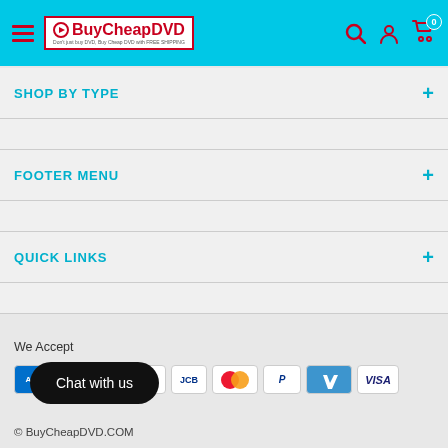BuyCheapDVD - Don't just buy DVD, Buy Cheap DVD with FREE SHIPPING
SHOP BY TYPE
FOOTER MENU
QUICK LINKS
We Accept
[Figure (other): Payment method icons: AMEX, ACH, Discover, JCB, Mastercard, PayPal, Venmo, Visa]
Chat with us
© BuyCheapDVD.COM